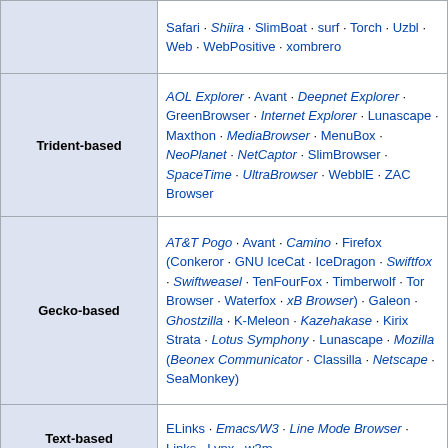| Category | Browsers |
| --- | --- |
| (top row partial) | Safari · Shiira · SlimBoat · surf · Torch · Uzbl · Web · WebPositive · xombrero |
| Trident-based | AOL Explorer · Avant · Deepnet Explorer · GreenBrowser · Internet Explorer · Lunascape · Maxthon · MediaBrowser · MenuBox · NeoPlanet · NetCaptor · SlimBrowser · SpaceTime · UltraBrowser · WebblE · ZAC Browser |
| Gecko-based | AT&T Pogo · Avant · Camino · Firefox (Conkeror · GNU IceCat · IceDragon · Swiftfox · Swiftweasel · TenFourFox · Timberwolf · Tor Browser · Waterfox · xB Browser) · Galeon · Ghostzilla · K-Meleon · Kazehakase · Kirix Strata · Lotus Symphony · Lunascape · Mozilla (Beonex Communicator · Classilla · Netscape · SeaMonkey) |
| Text-based | ELinks · Emacs/W3 · Line Mode Browser · Links · Lynx · w3m |
| Other | abaco · Amaya · Arachne · Arena · Charon · Dillo · eww · Gazelle · HotJava · IBM Home Page Reader · IBrowse · KidZui · Microsoft Edge · Mosaic · Mothra · NetPositive · NetSurf · Pale Moon |